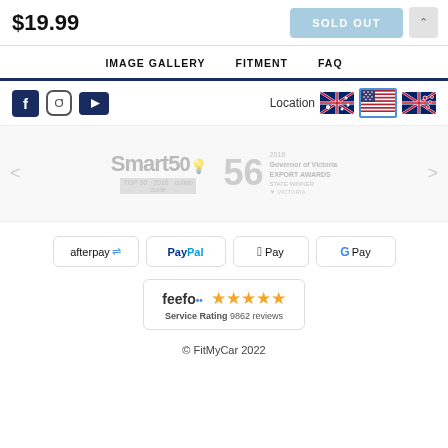$19.99
SOLD OUT
IMAGE GALLERY  FITMENT  FAQ
[Figure (screenshot): Social media icons (Facebook, Instagram, YouTube) on the left; Location label with Australian, US, and New Zealand flags on the right]
[Figure (screenshot): Awards carousel showing Smart50 Top 50 2018 CollabZone logo and 56 Governor of Victoria Export Awards 2018 State Winner logo]
[Figure (screenshot): Payment method badges: afterpay, PayPal, Apple Pay, Google Pay]
[Figure (screenshot): Feefo Service Rating badge with 5 stars and 9862 reviews]
© FitMyCar 2022